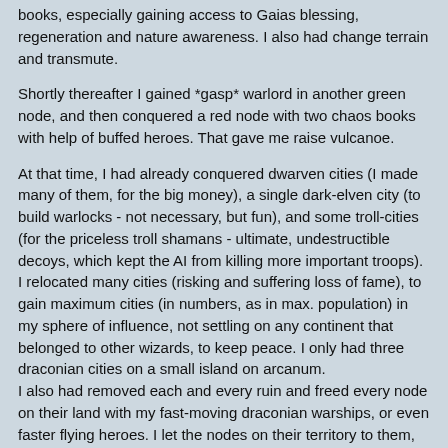books, especially gaining access to Gaias blessing, regeneration and nature awareness. I also had change terrain and transmute.
Shortly thereafter I gained *gasp* warlord in another green node, and then conquered a red node with two chaos books with help of buffed heroes. That gave me raise vulcanoe.
At that time, I had already conquered dwarven cities (I made many of them, for the big money), a single dark-elven city (to build warlocks - not necessary, but fun), and some troll-cities (for the priceless troll shamans - ultimate, undestructible decoys, which kept the AI from killing more important troops). I relocated many cities (risking and suffering loss of fame), to gain maximum cities (in numbers, as in max. population) in my sphere of influence, not settling on any continent that belonged to other wizards, to keep peace. I only had three draconian cities on a small island on arcanum.
I also had removed each and every ruin and freed every node on their land with my fast-moving draconian warships, or even faster flying heroes. I let the nodes on their territory to them, so they could use the power for themselves.
By “theft”, I also conquered a city of high humans, that has left ariel by a random event at end of turn, and completely removed it from her map, so not to anger her. This gave me adamant paladins later on, as I had kept one place for them free. This eventually gave me me the necessary troops